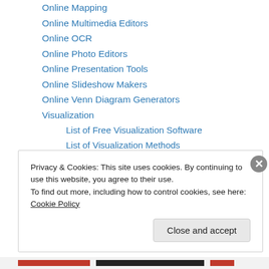Online Mapping
Online Multimedia Editors
Online OCR
Online Photo Editors
Online Presentation Tools
Online Slideshow Makers
Online Venn Diagram Generators
Visualization
List of Free Visualization Software
List of Visualization Methods
Visualization Evaluation Form
White Board Animation YouTube Videos
Vocabulary Tables
Privacy & Cookies: This site uses cookies. By continuing to use this website, you agree to their use. To find out more, including how to control cookies, see here: Cookie Policy